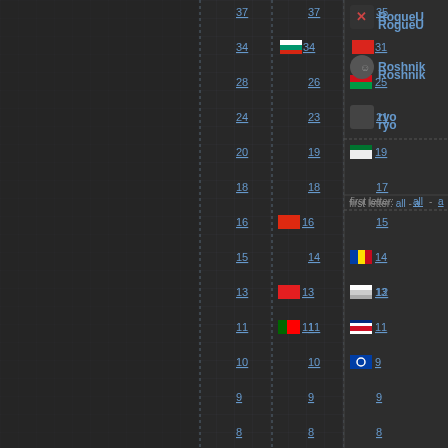[Figure (screenshot): Gaming/stats website screenshot showing three columns of country flag icons with associated numbers (ranging from 2 to 37), a right sidebar with usernames (RogueU..., Roshnik, ryo) and a 'first letter: all - a' filter bar. Dark themed interface with grid background.]
RogueU
Roshnik
ryo
first letter: all - a